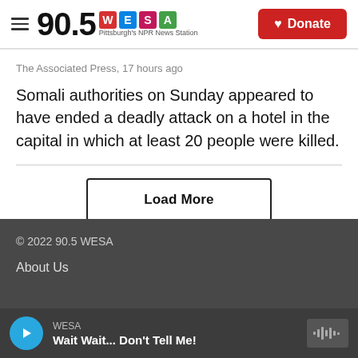90.5 WESA — Pittsburgh's NPR News Station | Donate
The Associated Press, 17 hours ago
Somali authorities on Sunday appeared to have ended a deadly attack on a hotel in the capital in which at least 20 people were killed.
Load More
© 2022 90.5 WESA
About Us
WESA — Wait Wait... Don't Tell Me!